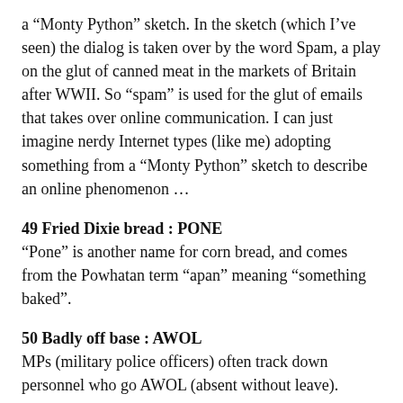a “Monty Python” sketch. In the sketch (which I’ve seen) the dialog is taken over by the word Spam, a play on the glut of canned meat in the markets of Britain after WWII. So “spam” is used for the glut of emails that takes over online communication. I can just imagine nerdy Internet types (like me) adopting something from a “Monty Python” sketch to describe an online phenomenon …
49 Fried Dixie bread : PONE
“Pone” is another name for corn bread, and comes from the Powhatan term “apan” meaning “something baked”.
50 Badly off base : AWOL
MPs (military police officers) often track down personnel who go AWOL (absent without leave).
56 Sacred cabinets : ARKS
The Torah ark is found in a synagogue, and is the ornamental container in which the Torah scrolls are